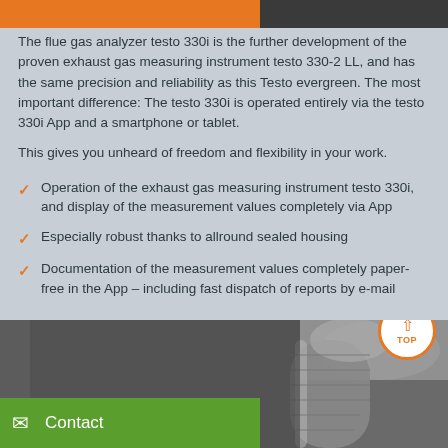[Figure (other): Orange and dark top bar banner strip]
The flue gas analyzer testo 330i is the further development of the proven exhaust gas measuring instrument testo 330-2 LL, and has the same precision and reliability as this Testo evergreen. The most important difference: The testo 330i is operated entirely via the testo 330i App and a smartphone or tablet.
This gives you unheard of freedom and flexibility in your work.
Operation of the exhaust gas measuring instrument testo 330i, and display of the measurement values completely via App
Especially robust thanks to allround sealed housing
Documentation of the measurement values completely paper-free in the App – including fast dispatch of reports by e-mail
[Figure (photo): Photo of a metallic exhaust pipe/flue elbow fitting, dark background, with a TOP scroll button (orange circle with upward arrow) overlaid in the top-right area]
Contact